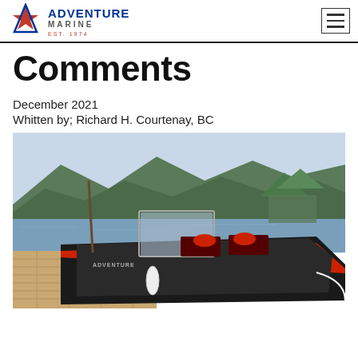Adventure Marine EST. 1974
Comments
December 2021
Whitten by; Richard H. Courtenay, BC
[Figure (photo): A black aluminum boat with red accents moored at a wooden dock on a calm lake, with forested mountains in the background.]